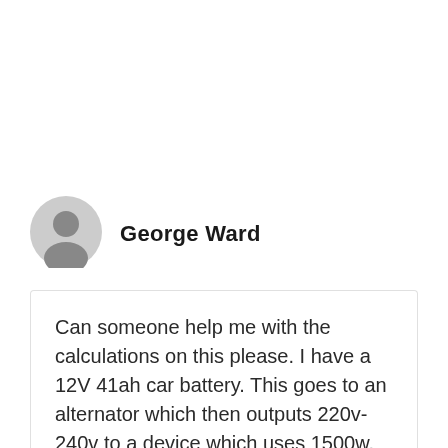[Figure (illustration): Circular grey avatar icon of a generic user silhouette]
George Ward
Can someone help me with the calculations on this please. I have a 12V 41ah car battery. This goes to an alternator which then outputs 220v-240v to a device which uses 1500w. How long would this device last running off the fully charged battery?